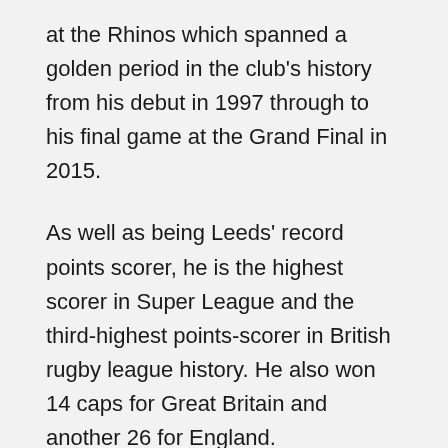at the Rhinos which spanned a golden period in the club's history from his debut in 1997 through to his final game at the Grand Final in 2015.
As well as being Leeds' record points scorer, he is the highest scorer in Super League and the third-highest points-scorer in British rugby league history. He also won 14 caps for Great Britain and another 26 for England.
After playing his last match for Leeds in 2015, he had a brief stint in rugby union as a player with the Rhinos' sister club Yorkshire Carnegie, before being recruited by the Rugby Football League to be its rugby director and returned to Headingley in a similar